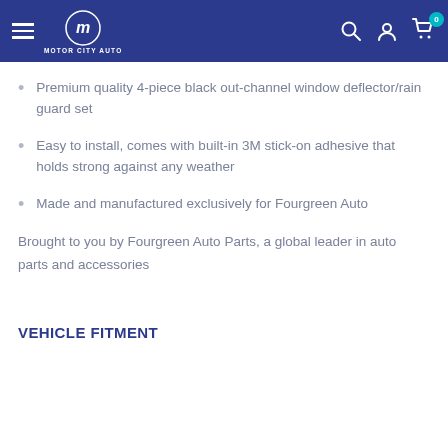Motor City Auto
Premium quality 4-piece black out-channel window deflector/rain guard set
Easy to install, comes with built-in 3M stick-on adhesive that holds strong against any weather
Made and manufactured exclusively for Fourgreen Auto
Brought to you by Fourgreen Auto Parts, a global leader in auto parts and accessories
VEHICLE FITMENT